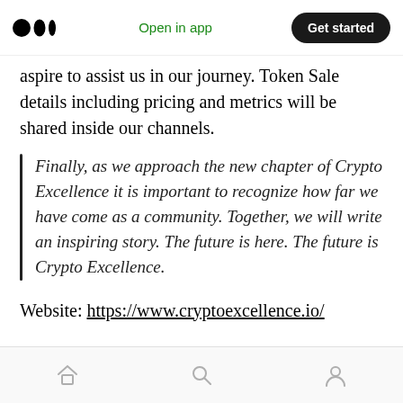Open in app | Get started
aspire to assist us in our journey. Token Sale details including pricing and metrics will be shared inside our channels.
Finally, as we approach the new chapter of Crypto Excellence it is important to recognize how far we have come as a community. Together, we will write an inspiring story. The future is here. The future is Crypto Excellence.
Website: https://www.cryptoexcellence.io/
Email: contact@cryptoexcellence.io